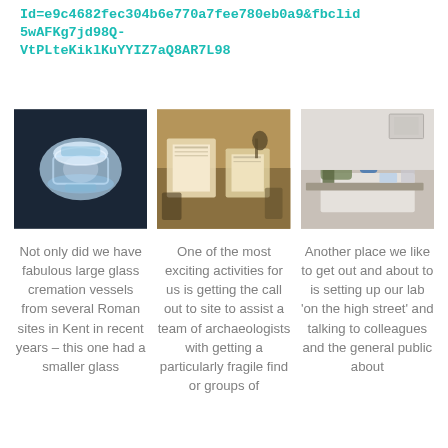Id=e9c4682fec304b6e770a7fee780eb0a9&fbclid5wAFKg7jd98Q-VtPLteKiklKuYYIZ7aQ8AR7L98
[Figure (photo): A glowing blue and white glass cremation vessel photographed against a dark background]
[Figure (photo): Archaeological finds laid out on a table, including large fragile objects wrapped in white material, with buckets and tools nearby]
[Figure (photo): Two people working in a laboratory setting, one standing and one sitting, examining items on a lab bench]
Not only did we have fabulous large glass cremation vessels from several Roman sites in Kent in recent years – this one had a smaller glass
One of the most exciting activities for us is getting the call out to site to assist a team of archaeologists with getting a particularly fragile find or groups of
Another place we like to get out and about to is setting up our lab 'on the high street' and talking to colleagues and the general public about